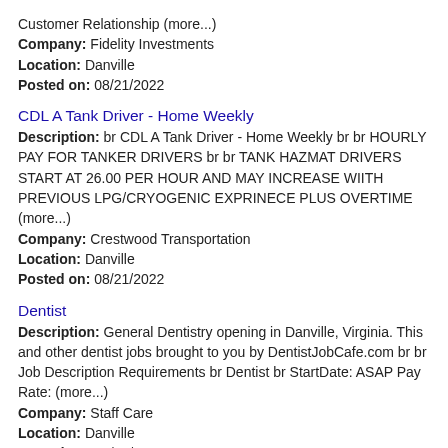Customer Relationship (more...)
Company: Fidelity Investments
Location: Danville
Posted on: 08/21/2022
CDL A Tank Driver - Home Weekly
Description: br CDL A Tank Driver - Home Weekly br br HOURLY PAY FOR TANKER DRIVERS br br TANK HAZMAT DRIVERS START AT 26.00 PER HOUR AND MAY INCREASE WIITH PREVIOUS LPG/CRYOGENIC EXPRINECE PLUS OVERTIME (more...)
Company: Crestwood Transportation
Location: Danville
Posted on: 08/21/2022
Dentist
Description: General Dentistry opening in Danville, Virginia. This and other dentist jobs brought to you by DentistJobCafe.com br br Job Description Requirements br Dentist br StartDate: ASAP Pay Rate: (more...)
Company: Staff Care
Location: Danville
Posted on: 08/21/2022